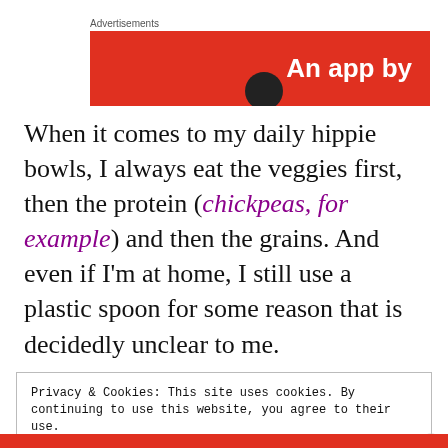[Figure (screenshot): Advertisement banner with red background and white bold text 'An app by']
When it comes to my daily hippie bowls, I always eat the veggies first, then the protein (chickpeas, for example) and then the grains. And even if I'm at home, I still use a plastic spoon for some reason that is decidedly unclear to me.
Privacy & Cookies: This site uses cookies. By continuing to use this website, you agree to their use.
To find out more, including how to control cookies, see here: Cookie Policy
Close and accept